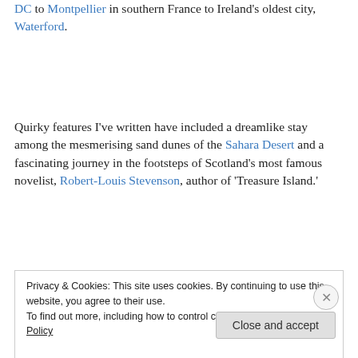DC to Montpellier in southern France to Ireland's oldest city, Waterford.
Quirky features I've written have included a dreamlike stay among the mesmerising sand dunes of the Sahara Desert and a fascinating journey in the footsteps of Scotland's most famous novelist, Robert-Louis Stevenson, author of 'Treasure Island.'
Privacy & Cookies: This site uses cookies. By continuing to use this website, you agree to their use. To find out more, including how to control cookies, see here: Cookie Policy
Close and accept